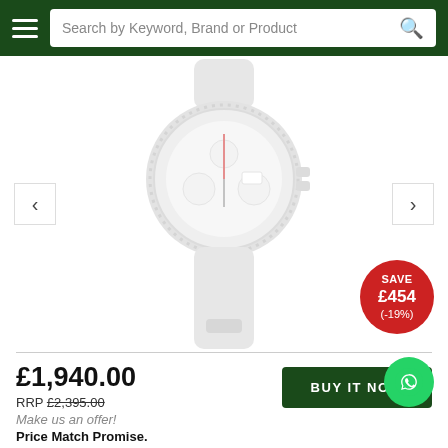Search by Keyword, Brand or Product
[Figure (photo): A silver chronograph watch with white dial, subdials, and red accents on a rubber strap, displayed on a white background with a SAVE £454 (-19%) red badge]
£1,940.00
RRP £2,395.00
Make us an offer!
Price Match Promise.
BUY IT NOW
from £43.84